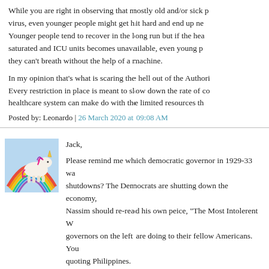While you are right in observing that mostly old and/or sick people die from the virus, even younger people might get hit hard and end up needing hospital care. Younger people tend to recover in the long run but if the healthcare system gets saturated and ICU units becomes unavailable, even young people can die because they can't breath without the help of a machine.

In my opinion that's what is scaring the hell out of the Authorities worldwide. Every restriction in place is meant to slow down the rate of contagion so the healthcare system can make do with the limited resources they have.
Posted by: Leonardo | 26 March 2020 at 09:08 AM
[Figure (illustration): Avatar image showing a unicorn with a rainbow background]
Jack,

Please remind me which democratic governor in 1929-33 was behind the shutdowns? The Democrats are shutting down the economy, Nassim should re-read his own peice, "The Most Intolerent W... governors on the left are doing to their fellow Americans. You... quoting Philippines.
Posted by: Fred | 26 March 2020 at 09:10 AM
[Figure (illustration): Avatar image with blue geometric/wave pattern]
Time Machine: